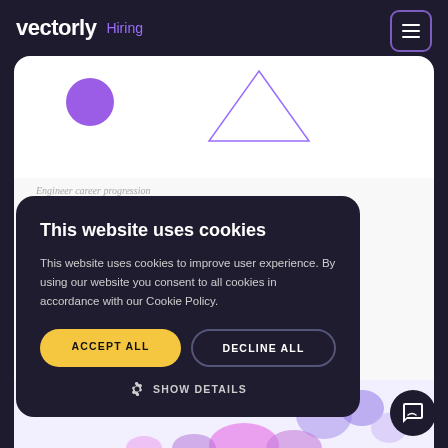vectorly   Hiring
[Figure (screenshot): Partial view of a web page with decorative purple circle and purple triangle outline on white background]
Engineer career progression
How to Build a Software
This website uses cookies
This website uses cookies to improve user experience. By using our website you consent to all cookies in accordance with our Cookie Policy.
ACCEPT ALL
DECLINE ALL
SHOW DETAILS